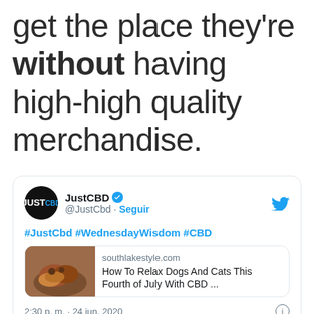get the place they're without having high-high quality merchandise.
[Figure (screenshot): Tweet from @JustCbd (JustCBD verified account) with hashtags #JustCbd #WednesdayWisdom #CBD, containing a link preview to southlakestyle.com article 'How To Relax Dogs And Cats This Fourth of July With CBD ...', posted at 2:30 p.m. · 24 jun. 2020]